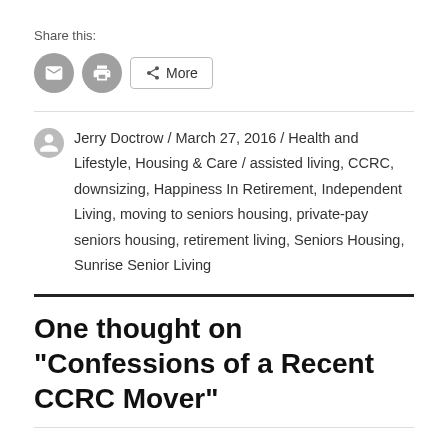Share this:
[Figure (other): Share buttons: email icon (circle), print icon (circle), and More button with share icon]
Jerry Doctrow / March 27, 2016 / Health and Lifestyle, Housing & Care / assisted living, CCRC, downsizing, Happiness In Retirement, Independent Living, moving to seniors housing, private-pay seniors housing, retirement living, Seniors Housing, Sunrise Senior Living
One thought on “Confessions of a Recent CCRC Mover”